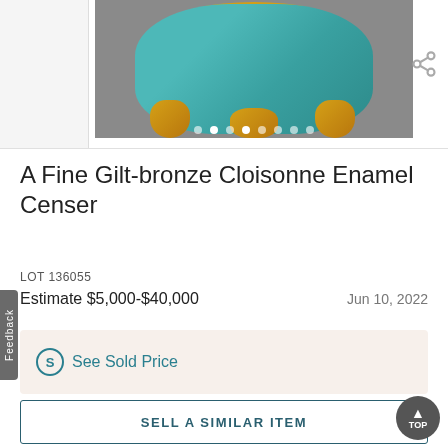[Figure (photo): A Fine Gilt-bronze Cloisonne Enamel Censer auction item photo with image carousel dots below]
A Fine Gilt-bronze Cloisonne Enamel Censer
LOT 136055
Estimate $5,000-$40,000
Jun 10, 2022
See Sold Price
SELL A SIMILAR ITEM